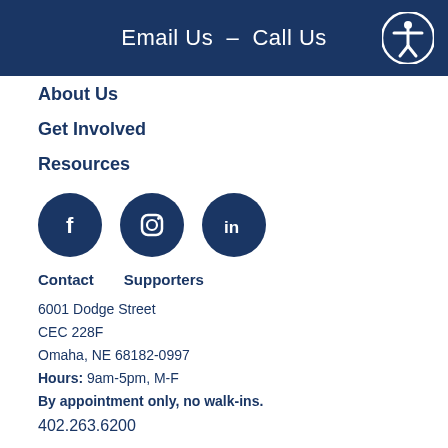Email Us  –  Call Us
About Us
Get Involved
Resources
[Figure (illustration): Three circular social media icons: Facebook (f), Instagram (camera), LinkedIn (in), all dark navy blue]
Contact    Supporters
6001 Dodge Street
CEC 228F
Omaha, NE 68182-0997
Hours: 9am-5pm, M-F
By appointment only, no walk-ins.
402.263.6200